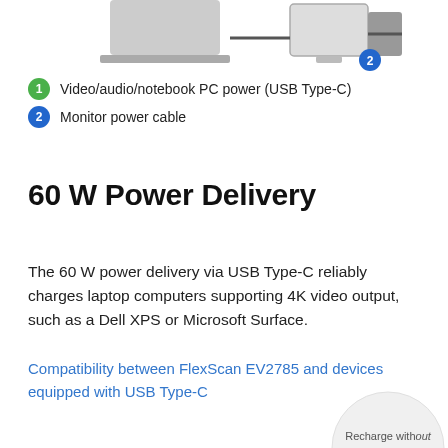[Figure (illustration): Partial diagram showing a laptop connected to a monitor via USB Type-C cable, with label number 2 callout near the monitor power cable connection]
1  Video/audio/notebook PC power (USB Type-C)
2  Monitor power cable
60 W Power Delivery
The 60 W power delivery via USB Type-C reliably charges laptop computers supporting 4K video output, such as a Dell XPS or Microsoft Surface.
Compatibility between FlexScan EV2785 and devices equipped with USB Type-C
[Figure (illustration): Partial circle graphic cut off at bottom-right corner with text 'Recharge without']